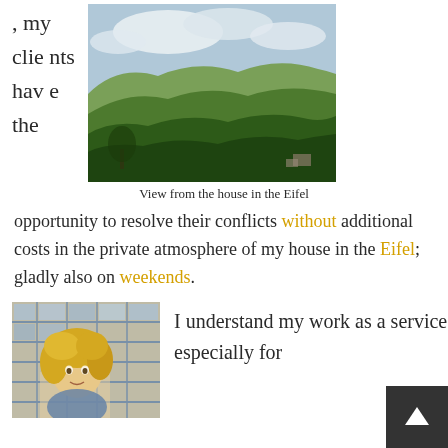, my clients have the
[Figure (photo): Landscape photo showing a view from the house in the Eifel — rolling green hills and forested countryside under a partly cloudy sky]
View from the house in the Eifel
opportunity to resolve their conflicts without additional costs in the private atmosphere of my house in the Eifel; gladly also on weekends.
[Figure (photo): Person with curly blonde hair standing in front of a modern glass-facade building]
I understand my work as a service especially for